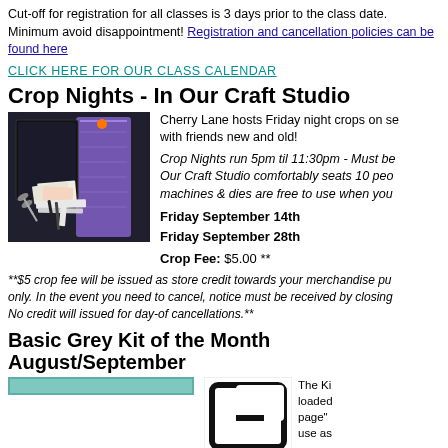Cut-off for registration for all classes is 3 days prior to the class date. Minimum avoid disappointment! Registration and cancellation policies can be found here
CLICK HERE FOR OUR CLASS CALENDAR
Crop Nights - In Our Craft Studio
[Figure (photo): Photo of scrapbooking craft supplies including scissors, a trimmer, pens, and papers on a dark patterned background]
Cherry Lane hosts Friday night crops on selected Fridays. Come and crop with friends new and old!

Crop Nights run 5pm til 11:30pm - Must be registered to attend. Our Craft Studio comfortably seats 10 people. Our Cricut and Sizzix machines & dies are free to use when you attend a crop night.
Friday September 14th
Friday September 28th

Crop Fee: $5.00 **
**$5 crop fee will be issued as store credit towards your merchandise purchase only. In the event you need to cancel, notice must be received by closing time. No credit will issued for day-of cancellations.**
Basic Grey Kit of the Month August/September
[Figure (illustration): Teal horizontal bar and Basic Grey logo mark with BASICGREY text underneath]
The Kit is loaded with "page" use as

Full c instructions are included